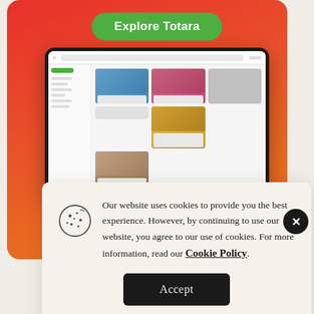[Figure (screenshot): Red-orange gradient background card with 'Explore Totara' green button and a laptop/tablet screenshot showing the Totara website interface with course cards]
Our website uses cookies to provide you the best experience. However, by continuing to use our website, you agree to our use of cookies. For more information, read our Cookie Policy.
Accept